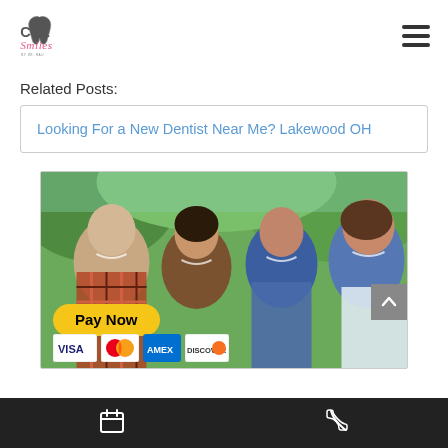[Figure (logo): CLE Smiles dental clinic logo with tooth icon and cursive text]
Related Posts:
Looking For a New Dentist Near Me? Lakewood OH
[Figure (photo): Happy family of four smiling outdoors with Pay Now button and credit card icons overlay]
Calendar icon and phone icon in dark bottom bar